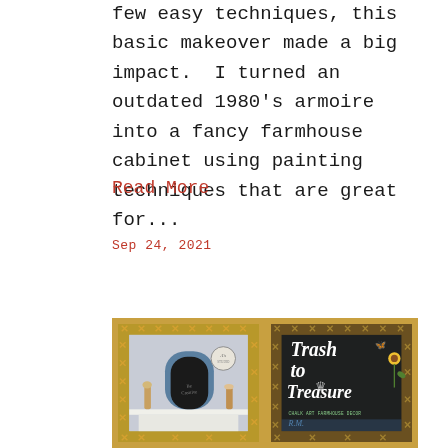few easy techniques, this basic makeover made a big impact.  I turned an outdated 1980's armoire into a fancy farmhouse cabinet using painting techniques that are great for...
Read More
Sep 24, 2021
[Figure (photo): Composite photo showing two images side by side with a gold X-pattern border: left image shows a blue-painted armoire with chalkboard door on a white mantel with decorative flowers and a circular stamp logo; right image shows a dark chalkboard-style sign reading 'Trash to Treasure' in cursive white text with a butterfly, crown, sunflower, and small green text at the bottom.]